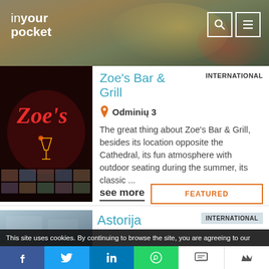in your pocket
Zoe's Bar & Grill
INTERNATIONAL
Odminių 3
The great thing about Zoe's Bar & Grill, besides its location opposite the Cathedral, its fun atmosphere with outdoor seating during the summer, its classic ...
see more
FEATURED
Astorija
INTERNATIONAL
This site uses cookies. By continuing to browse the site, you are agreeing to our use